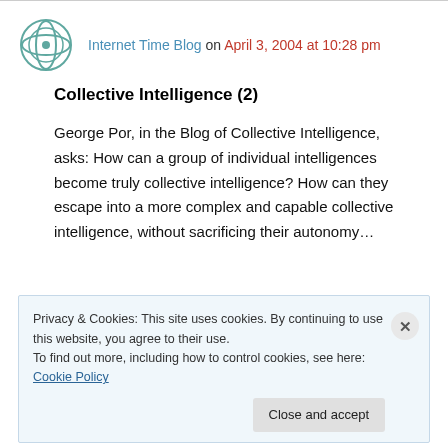Internet Time Blog on April 3, 2004 at 10:28 pm
Collective Intelligence (2)
George Por, in the Blog of Collective Intelligence, asks: How can a group of individual intelligences become truly collective intelligence? How can they escape into a more complex and capable collective intelligence, without sacrificing their autonomy…
Privacy & Cookies: This site uses cookies. By continuing to use this website, you agree to their use.
To find out more, including how to control cookies, see here: Cookie Policy
Close and accept